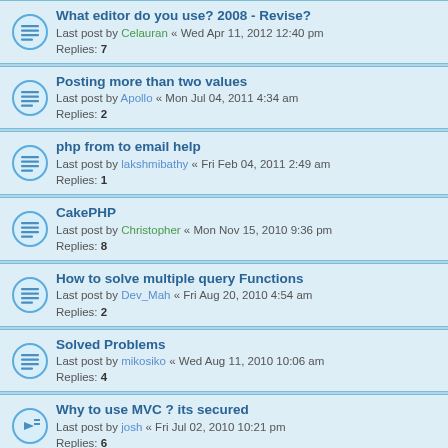What editor do you use? 2008 - Revise? Last post by Celauran « Wed Apr 11, 2012 12:40 pm Replies: 7
Posting more than two values Last post by Apollo « Mon Jul 04, 2011 4:34 am Replies: 2
php from to email help Last post by lakshmibathy « Fri Feb 04, 2011 2:49 am Replies: 1
CakePHP Last post by Christopher « Mon Nov 15, 2010 9:36 pm Replies: 8
How to solve multiple query Functions Last post by Dev_Mah « Fri Aug 20, 2010 4:54 am Replies: 2
Solved Problems Last post by mikosiko « Wed Aug 11, 2010 10:06 am Replies: 4
Why to use MVC ? its secured Last post by josh « Fri Jul 02, 2010 10:21 pm Replies: 6
help to design MLM Archtecture & Sofware Last post by onion2k « Tue Jun 29, 2010 3:43 am Replies: 1
syntax highlighter bug Last post by PHPHorizons « Tue Jun 15, 2010 11:49 pm